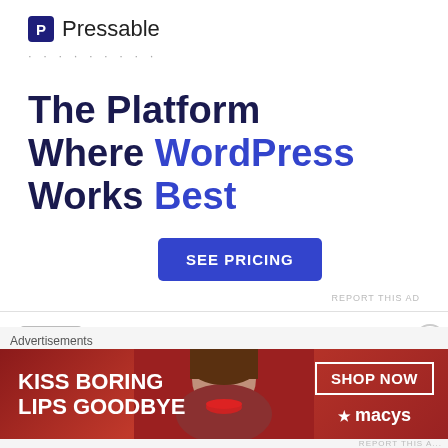[Figure (logo): Pressable logo with dark blue P icon and text 'Pressable']
The Platform Where WordPress Works Best
SEE PRICING
REPORT THIS AD
JAMIE
June 11, 2019 / 9:31 am
This...
[Figure (infographic): Macy's advertisement: KISS BORING LIPS GOODBYE with model, SHOP NOW button and Macy's star logo]